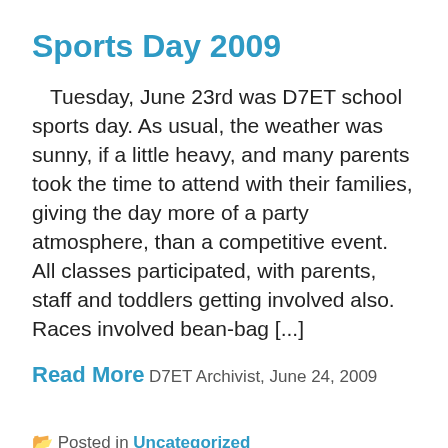Sports Day 2009
Tuesday, June 23rd was D7ET school sports day.  As usual, the weather was sunny, if a little heavy, and many parents took the time to attend with their families, giving the day more of a party atmosphere, than a competitive event. All classes participated, with  parents, staff and toddlers getting involved also. Races involved bean-bag [...]
Read More
D7ET Archivist, June 24, 2009
Posted in Uncategorized